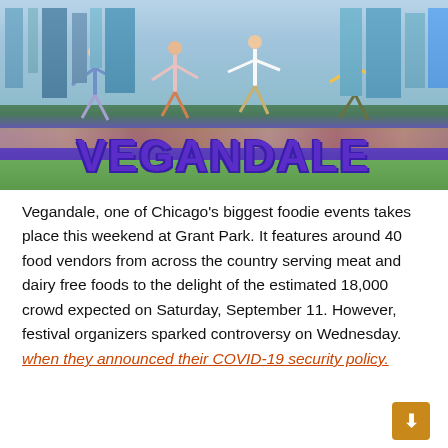[Figure (photo): Photo of people jumping on top of large purple 3D letters spelling VEGANDALE at an outdoor festival, with city skyline and green grass in the background]
Vegandale, one of Chicago's biggest foodie events takes place this weekend at Grant Park. It features around 40 food vendors from across the country serving meat and dairy free foods to the delight of the estimated 18,000 crowd expected on Saturday, September 11. However, festival organizers sparked controversy on Wednesday. when they announced their COVID-19 security policy.